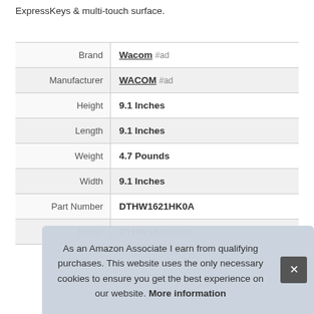ExpressKeys & multi-touch surface.
| Attribute | Value |
| --- | --- |
| Brand | Wacom #ad |
| Manufacturer | WACOM #ad |
| Height | 9.1 Inches |
| Length | 9.1 Inches |
| Weight | 4.7 Pounds |
| Width | 9.1 Inches |
| Part Number | DTHW1621HK0A |
| Model | DTHW1621HK0A |
As an Amazon Associate I earn from qualifying purchases. This website uses the only necessary cookies to ensure you get the best experience on our website. More information